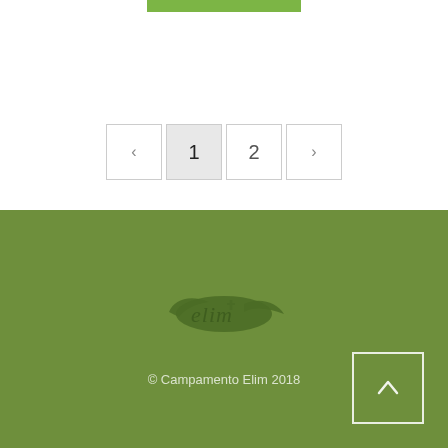[Figure (other): Green horizontal bar at top center of page]
[Figure (other): Pagination controls with previous arrow, page 1 (active/highlighted), page 2, and next arrow buttons]
[Figure (logo): Elim camp logo - stylized text 'elim' with bird/leaf graphic on olive green background]
© Campamento Elim 2018